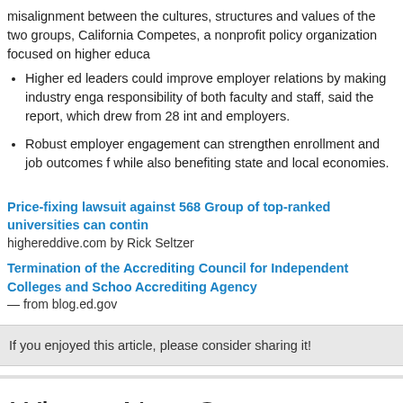misalignment between the cultures, structures and values of the two groups, California Competes, a nonprofit policy organization focused on higher educa
Higher ed leaders could improve employer relations by making industry enga responsibility of both faculty and staff, said the report, which drew from 28 int and employers.
Robust employer engagement can strengthen enrollment and job outcomes f while also benefiting state and local economies.
Price-fixing lawsuit against 568 Group of top-ranked universities can contin highereddive.com by Rick Seltzer
Termination of the Accrediting Council for Independent Colleges and Schoo Accrediting Agency — from blog.ed.gov
If you enjoyed this article, please consider sharing it!
What a New Strategy at 2U Means fo Online Higher Education [Hill]